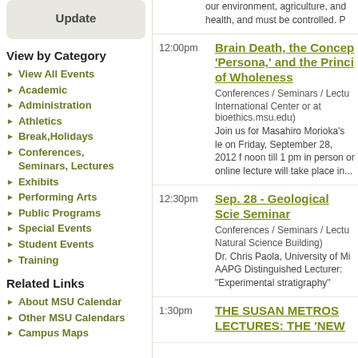Update
View by Category
View All Events
Academic
Administration
Athletics
Break,Holidays
Conferences, Seminars, Lectures
Exhibits
Performing Arts
Public Programs
Special Events
Student Events
Training
Related Links
About MSU Calendar
Other MSU Calendars
Campus Maps
our environment, agriculture, and health, and must be controlled. P
12:00pm
Brain Death, the Concept of 'Persona,' and the Principle of Wholeness
Conferences / Seminars / Lectures
International Center or at bioethics.msu.edu)
Join us for Masahiro Morioka's le on Friday, September 28, 2012 f noon till 1 pm in person or online lecture will take place in...
12:30pm
Sep. 28 - Geological Sciences Seminar
Conferences / Seminars / Lectures
Natural Science Building)
Dr. Chris Paola, University of Min AAPG Distinguished Lecturer: "Experimental stratigraphy"
1:30pm
THE SUSAN METROS LECTURES: THE 'NEW